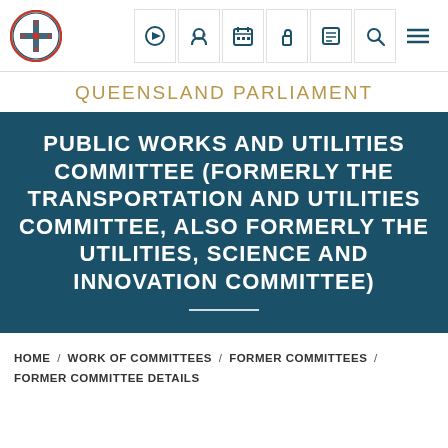[Figure (logo): Queensland Parliament logo — circular emblem with cross and crown in red and blue on white background]
QUEENSLAND PARLIAMENT
PUBLIC WORKS AND UTILITIES COMMITTEE (FORMERLY THE TRANSPORTATION AND UTILITIES COMMITTEE, ALSO FORMERLY THE UTILITIES, SCIENCE AND INNOVATION COMMITTEE)
HOME / WORK OF COMMITTEES / FORMER COMMITTEES / FORMER COMMITTEE DETAILS